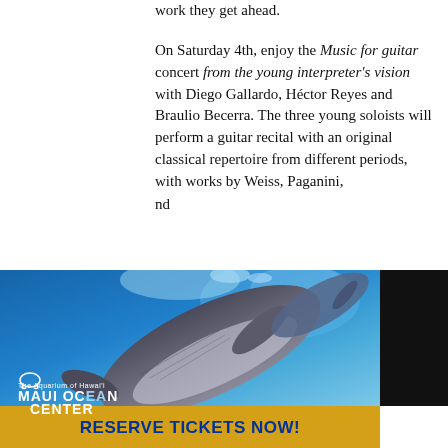work they get ahead.
On Saturday 4th, enjoy the Music for guitar concert from the young interpreter's vision with Diego Gallardo, Héctor Reyes and Braulio Becerra. The three young soloists will perform a guitar recital with an original classical repertoire from different periods, with works by Weiss, Paganini, and [concert] begins at 7:30 [and] it is [available] it online.
[Figure (photo): Advertisement for Maui Ocean Center - The Aquarium of Hawai'i featuring a humpback whale swimming underwater with blue water background, logo, and 'Reserve Tickets Now!' call to action button in gold/yellow bar]